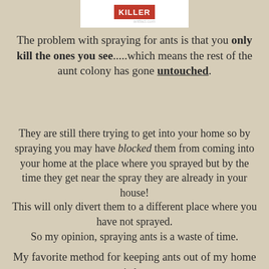[Figure (logo): Ant Killer logo with red background and white text reading KILLER]
The problem with spraying for ants is that you only kill the ones you see.....which means the rest of the aunt colony has gone untouched.
They are still there trying to get into your home so by spraying you may have blocked them from coming into your home at the place where you sprayed but by the time they get near the spray they are already in your house!
This will only divert them to a different place where you have not sprayed.
So my opinion, spraying ants is a waste of time.
My favorite method for keeping ants out of my home is by